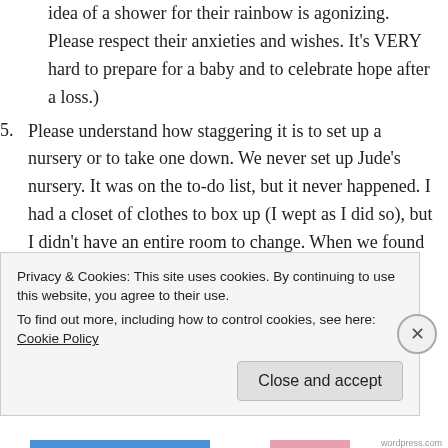idea of a shower for their rainbow is agonizing. Please respect their anxieties and wishes. It's VERY hard to prepare for a baby and to celebrate hope after a loss.)
5. Please understand how staggering it is to set up a nursery or to take one down. We never set up Jude's nursery. It was on the to-do list, but it never happened. I had a closet of clothes to box up (I wept as I did so), but I didn't have an entire room to change. When we found out Eilie was a girl, we painted the beige room yellow and I
Privacy & Cookies: This site uses cookies. By continuing to use this website, you agree to their use.
To find out more, including how to control cookies, see here: Cookie Policy
Close and accept